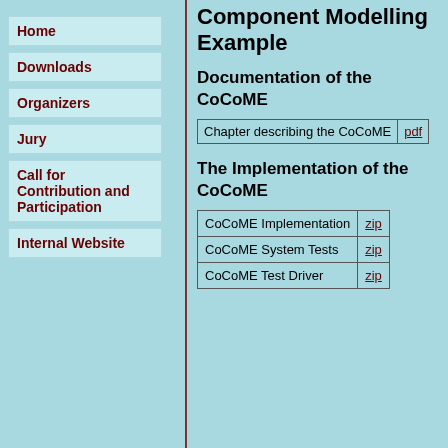Home
Downloads
Organizers
Jury
Call for Contribution and Participation
Internal Website
Component Modelling Example
Documentation of the CoCoME
|  |  |
| --- | --- |
| Chapter describing the CoCoME | pdf |
The Implementation of the CoCoME
|  |  |
| --- | --- |
| CoCoME Implementation | zip |
| CoCoME System Tests | zip |
| CoCoME Test Driver | zip |